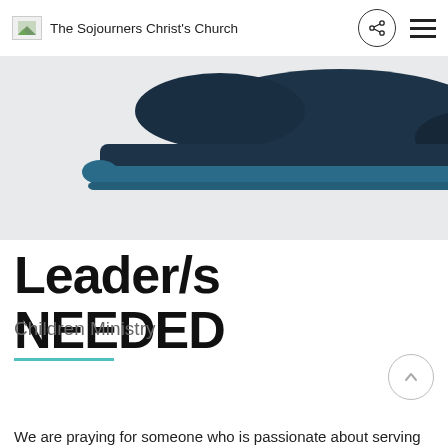The Sojourners Christ's Church
[Figure (photo): Close-up of a dark navy blue suede shoe sole against a light grey background]
Leader/s NEEDED
Children Ministry
We are praying for someone who is passionate about serving